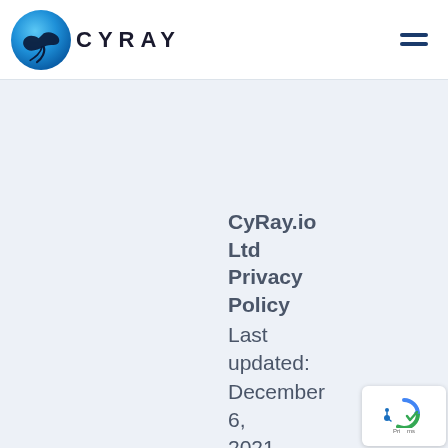[Figure (logo): CyRay logo: circular blue gradient icon with a manta ray silhouette, next to the text CYRAY in bold dark spaced letters]
CyRay.io Ltd Privacy Policy Last updated: December 6, 2021
[Figure (other): reCAPTCHA badge widget in the bottom-right corner showing Google reCAPTCHA logo and privacy/terms text]